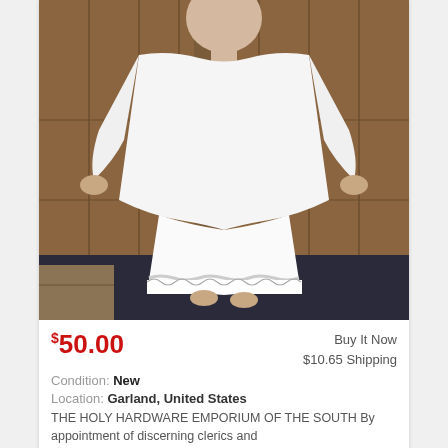[Figure (photo): Mannequin wearing white liturgical vestment (alb) over white undergarment with lace trim at the bottom, displayed in front of wooden panel background on dark blue carpet floor.]
$50.00
Buy It Now
$10.65 Shipping
Condition: New
Location: Garland, United States
THE HOLY HARDWARE EMPORIUM OF THE SOUTH By appointment of discerning clerics and